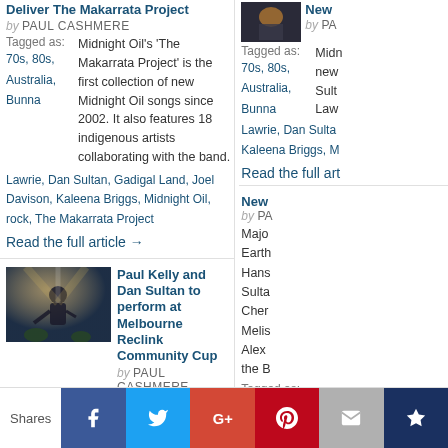Deliver The Makarrata Project
by PAUL CASHMERE
Midnight Oil's 'The Makarrata Project' is the first collection of new Midnight Oil songs since 2002. It also features 18 indigenous artists collaborating with the band.
Tagged as: 70s, 80s, Australia, Bunna Lawrie, Dan Sultan, Gadigal Land, Joel Davison, Kaleena Briggs, Midnight Oil, rock, The Makarrata Project
Read the full article →
[Figure (photo): Concert photo - performer on stage with lighting]
Paul Kelly and Dan Sultan to perform at Melbourne Reclink Community Cup
by PAUL CASHMERE
Paul Kelly and Dan Kelly will sing a few toons at the Reclink Community Cup in Melbourne this year.
Tagged as: Australia, Dan Sultan, Paul Kelly, Reclink Community Cup
Read the full article →
Shares